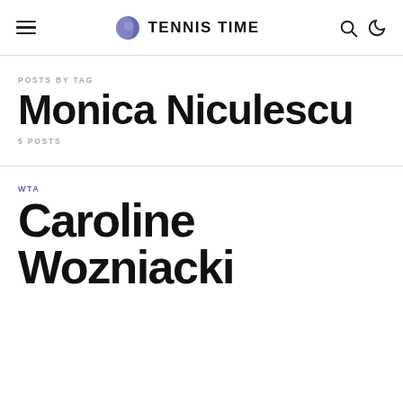TENNIS TIME
POSTS BY TAG
Monica Niculescu
5 POSTS
WTA
Caroline Wozniacki